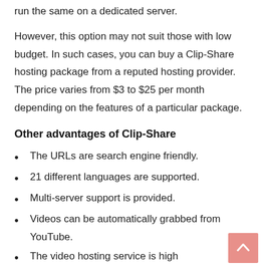run the same on a dedicated server.
However, this option may not suit those with low budget. In such cases, you can buy a Clip-Share hosting package from a reputed hosting provider. The price varies from $3 to $25 per month depending on the features of a particular package.
Other advantages of Clip-Share
The URLs are search engine friendly.
21 different languages are supported.
Multi-server support is provided.
Videos can be automatically grabbed from YouTube.
The video hosting service is high...